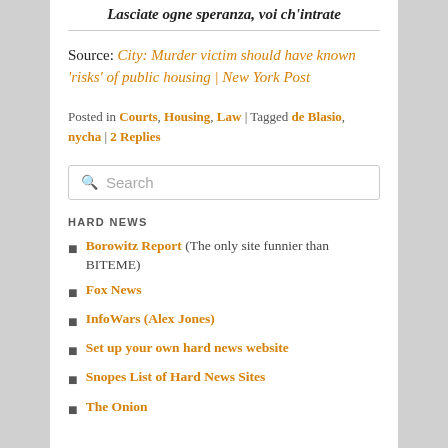Lasciate ogne speranza, voi ch'intrate
Source: City: Murder victim should have known 'risks' of public housing | New York Post
Posted in Courts, Housing, Law | Tagged de Blasio, nycha | 2 Replies
Search
HARD NEWS
Borowitz Report (The only site funnier than BITEME)
Fox News
InfoWars (Alex Jones)
Set up your own hard news website
Snopes List of Hard News Sites
The Onion